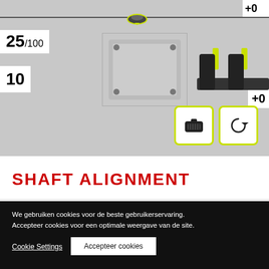[Figure (screenshot): Shaft alignment app screenshot showing measurement interface with sensor icons, score readouts (25/100 and 10), alignment tools on a shaft, and two button icons (sensor and reset) with yellow-green highlights. A +0 indicator is visible top-right and bottom-right.]
SHAFT ALIGNMENT
We gebruiken cookies voor de beste gebruikerservaring. Accepteer cookies voor een optimale weergave van de site.
Cookie Settings
Accepteer cookies